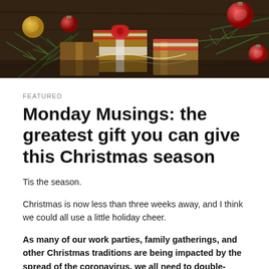[Figure (photo): Christmas gifts wrapped in brown paper with red and white striped ribbons, red ornament balls, and pine branches on a dark wooden surface]
FEATURED
Monday Musings: the greatest gift you can give this Christmas season
Tis the season.
Christmas is now less than three weeks away, and I think we could all use a little holiday cheer.
As many of our work parties, family gatherings, and other Christmas traditions are being impacted by the spread of the coronavirus, we all need to double-down